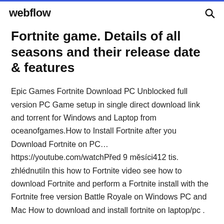webflow
Fortnite game. Details of all seasons and their release date & features
Epic Games Fortnite Download PC Unblocked full version PC Game setup in single direct download link and torrent for Windows and Laptop from oceanofgames.How to Install Fortnite after you Download Fortnite on PC… https://youtube.com/watchPřed 9 měsíci412 tis. zhlédnutiIn this how to Fortnite video see how to download Fortnite and perform a Fortnite install with the Fortnite free version Battle Royale on Windows PC and Mac How to download and install fortnite on laptop/pc .